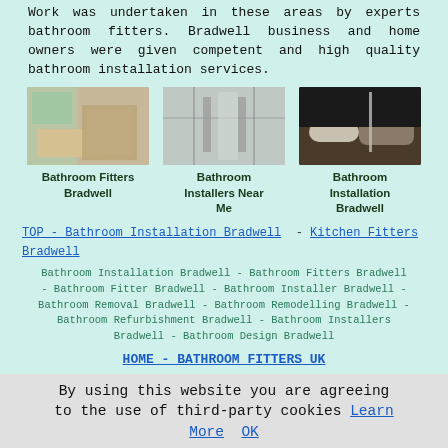Work was undertaken in these areas by experts bathroom fitters. Bradwell business and home owners were given competent and high quality bathroom installation services.
[Figure (photo): Bathroom interior with bathtub and vanity]
[Figure (photo): Glass shower enclosure with tiles]
[Figure (photo): Modern bathroom with freestanding bathtub]
Bathroom Fitters Bradwell
Bathroom Installers Near Me
Bathroom Installation Bradwell
TOP - Bathroom Installation Bradwell - Kitchen Fitters Bradwell
Bathroom Installation Bradwell - Bathroom Fitters Bradwell - Bathroom Fitter Bradwell - Bathroom Installer Bradwell - Bathroom Removal Bradwell - Bathroom Remodelling Bradwell - Bathroom Refurbishment Bradwell - Bathroom Installers Bradwell - Bathroom Design Bradwell
HOME - BATHROOM FITTERS UK
By using this website you are agreeing to the use of third-party cookies Learn More OK